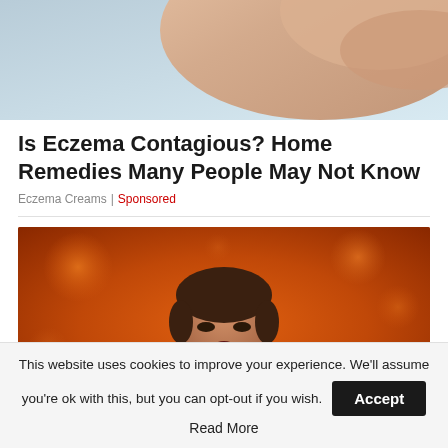[Figure (photo): Cropped photo of a hand/skin close-up showing skin texture, partially visible at top of page]
Is Eczema Contagious? Home Remedies Many People May Not Know
Eczema Creams | Sponsored
[Figure (photo): Photo of a male singer performing on stage, singing passionately into a microphone, wearing a checkered shirt, against an orange bokeh background]
This website uses cookies to improve your experience. We'll assume you're ok with this, but you can opt-out if you wish. Accept
Read More